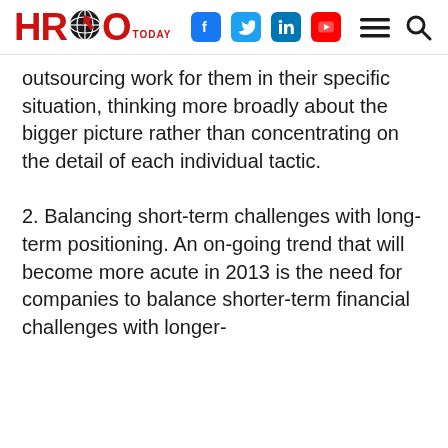HR Today [logo with globe and social icons]
outsourcing work for them in their specific situation, thinking more broadly about the bigger picture rather than concentrating on the detail of each individual tactic.
2. Balancing short-term challenges with long-term positioning. An on-going trend that will become more acute in 2013 is the need for companies to balance shorter-term financial challenges with longer-term strategic needs. Our customers and